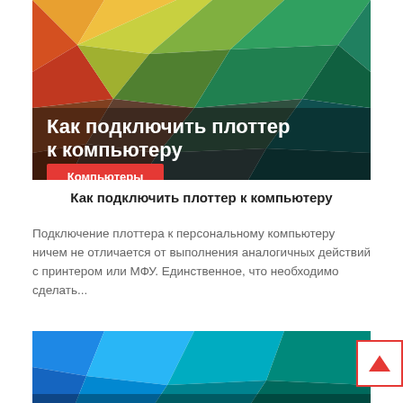[Figure (illustration): Colorful polygonal low-poly banner image with text overlay 'Как подключить плоттер к компьютеру' and a red 'Компьютеры' category button]
Как подключить плоттер к компьютеру
Подключение плоттера к персональному компьютеру ничем не отличается от выполнения аналогичных действий с принтером или МФУ. Единственное, что необходимо сделать...
[Figure (illustration): Blue polygonal low-poly banner with text 'Как прошить андроид самому без компьютера' partially visible at bottom]
[Figure (other): Red-bordered scroll-to-top button with upward triangle arrow]